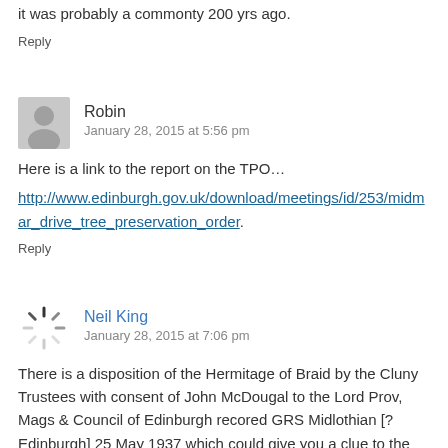it was probably a commonty 200 yrs ago.
Reply
Robin
January 28, 2015 at 5:56 pm
Here is a link to the report on the TPO…
http://www.edinburgh.gov.uk/download/meetings/id/253/midmar_drive_tree_preservation_order.
Reply
Neil King
January 28, 2015 at 7:06 pm
There is a disposition of the Hermitage of Braid by the Cluny Trustees with consent of John McDougal to the Lord Prov, Mags & Council of Edinburgh recored GRS Midlothian [? Edinburgh] 25 May 1937 which could give you a clue to the relevant search sheet.
Reply